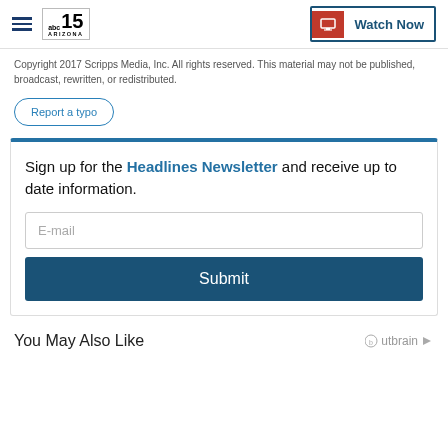abc15 ARIZONA — Watch Now
Copyright 2017 Scripps Media, Inc. All rights reserved. This material may not be published, broadcast, rewritten, or redistributed.
Report a typo
Sign up for the Headlines Newsletter and receive up to date information.
E-mail
Submit
You May Also Like